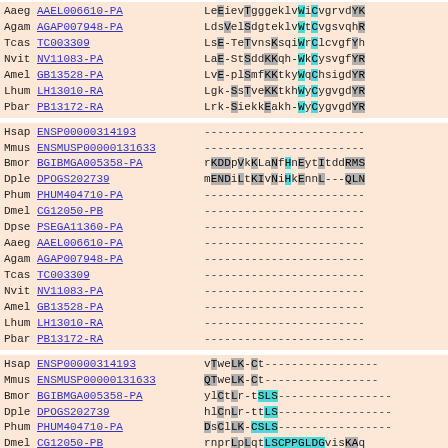[Figure (other): Multiple sequence alignment showing protein sequences for various species with colored residue highlighting (cyan and gray for conserved positions), gaps shown as dashes. Three alignment blocks visible.]